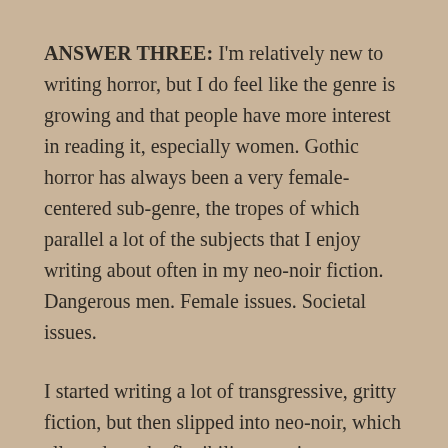ANSWER THREE: I'm relatively new to writing horror, but I do feel like the genre is growing and that people have more interest in reading it, especially women. Gothic horror has always been a very female-centered sub-genre, the tropes of which parallel a lot of the subjects that I enjoy writing about often in my neo-noir fiction. Dangerous men. Female issues. Societal issues.
I started writing a lot of transgressive, gritty fiction, but then slipped into neo-noir, which allowed me the flexibility to write minimalism while borrowing influences from other genres. 2020 found me gravitating more toward various horror tropes than any other, and something about this particular anthology call really pushed me to embrace horror entirely for the first time. One thing I love about gothic fiction is its